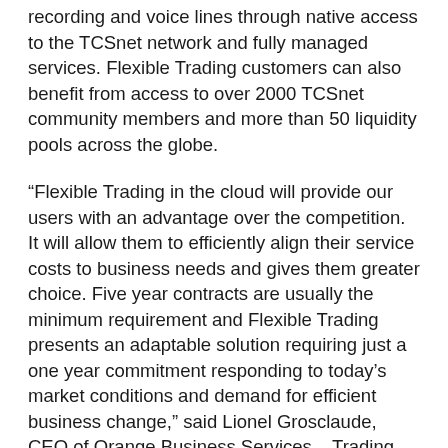recording and voice lines through native access to the TCSnet network and fully managed services. Flexible Trading customers can also benefit from access to over 2000 TCSnet community members and more than 50 liquidity pools across the globe.
“Flexible Trading in the cloud will provide our users with an advantage over the competition. It will allow them to efficiently align their service costs to business needs and gives them greater choice. Five year contracts are usually the minimum requirement and Flexible Trading presents an adaptable solution requiring just a one year commitment responding to today’s market conditions and demand for efficient business change,” said Lionel Grosclaude, CEO of Orange Business Services – Trading Solutions. He added, “Flexible Trading’s ‘pay as you grow’ model is a very attractive alternative for small to mid-sized financial institutions, which can now benefit from and afford the most advanced trading solutions. It is a full end-to-end service so there is no need for